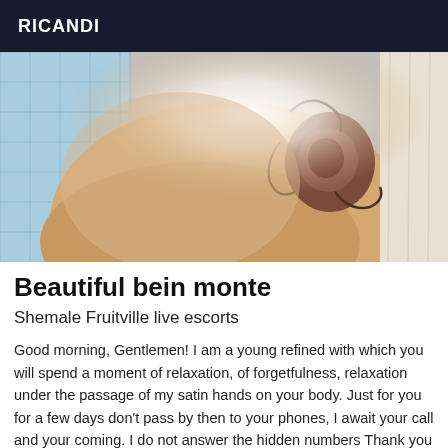RICANDI
[Figure (photo): Close-up photo of a person's tattooed body, showing a large rose tattoo on the shoulder/back area, with blue tiles visible in the background.]
Beautiful bein monte
Shemale Fruitville live escorts
Good morning, Gentlemen! I am a young refined with which you will spend a moment of relaxation, of forgetfulness, relaxation under the passage of my satin hands on your body. Just for you for a few days don't pass by then to your phones, I await your call and your coming. I do not answer the hidden numbers Thank you